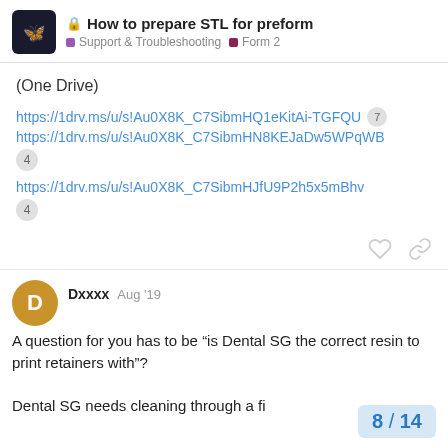🔒 How to prepare STL for preform — Support & Troubleshooting | Form 2
(One Drive)
https://1drv.ms/u/s!Au0X8K_C7SibmHQ1eKitAi-TGFQU (7 clicks)
https://1drv.ms/u/s!Au0X8K_C7SibmHN8KEJaDw5WPqWB (4 clicks)
https://1drv.ms/u/s!Au0X8K_C7SibmHJfU9P2h5x5mBhv (4 clicks)
Dxxxx — Aug '19
A question for you has to be “is Dental SG the correct resin to print retainers with”?

Dental SG needs cleaning through a fi
8 / 14